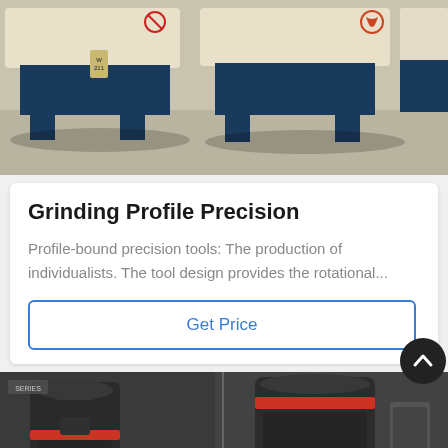[Figure (photo): Industrial grinding machines with cream/beige colored tops and dark blue steel frames, parked on a concrete surface outdoors.]
Grinding Profile Precision
Profile-bound precision tools: The production of individualists. The tool design provides the rotational...
Get Price
[Figure (photo): Dark gray industrial grinding/milling machines with red accents, shown indoors from multiple angles.]